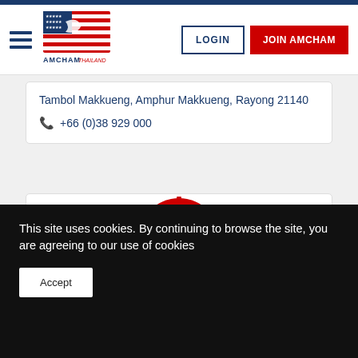[Figure (logo): AMCHAM Thailand logo with American flag motif]
LOGIN
JOIN AMCHAM
Tambol Makkueng, Amphur Makkueng, Rayong 21140
+66 (0)38 929 000
[Figure (logo): Mattel logo — red circular seal with MATTEL text in white]
This site uses cookies. By continuing to browse the site, you are agreeing to our use of cookies
Accept